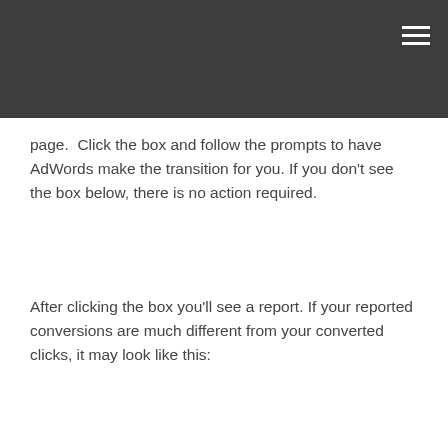page.  Click the box and follow the prompts to have AdWords make the transition for you. If you don't see the box below, there is no action required.
After clicking the box you'll see a report. If your reported conversions are much different from your converted clicks, it may look like this: